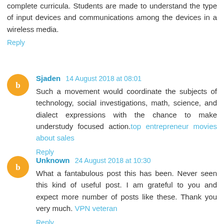complete curricula. Students are made to understand the type of input devices and communications among the devices in a wireless media.
Reply
Sjaden 14 August 2018 at 08:01
Such a movement would coordinate the subjects of technology, social investigations, math, science, and dialect expressions with the chance to make understudy focused action. top entrepreneur movies about sales
Reply
Unknown 24 August 2018 at 10:30
What a fantabulous post this has been. Never seen this kind of useful post. I am grateful to you and expect more number of posts like these. Thank you very much. VPN veteran
Reply